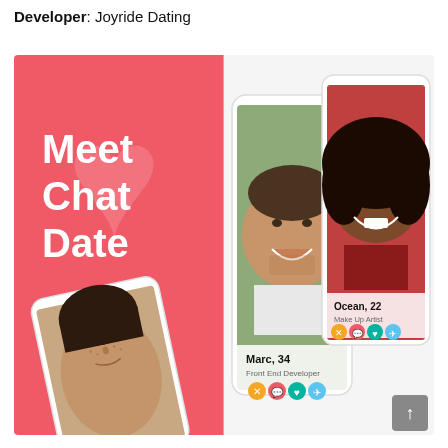Developer: Joyride Dating
[Figure (screenshot): App store screenshots for a dating app showing 'Meet Chat Date' text on coral/salmon background with phone mockups showing user profiles. Left panel shows coral background with white text 'Meet Chat Date' and a phone showing a young woman. Center shows a smiling man named Marc, 34 with Front End Developer label and action buttons. Right shows a woman named Ocean, 22 Make Up Artist with action buttons.]